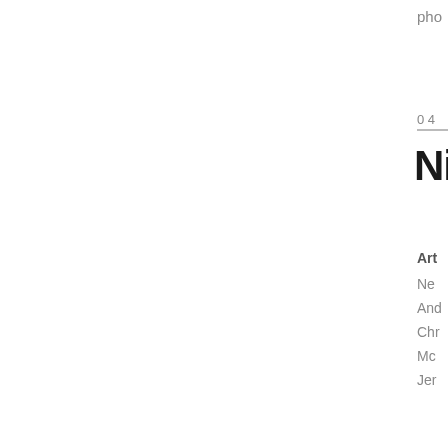pho
0 4
NI
Art
Ne
And
Chr
Mc
Jer
0 3
TO
DI
Art
Ne
Alo
som
par